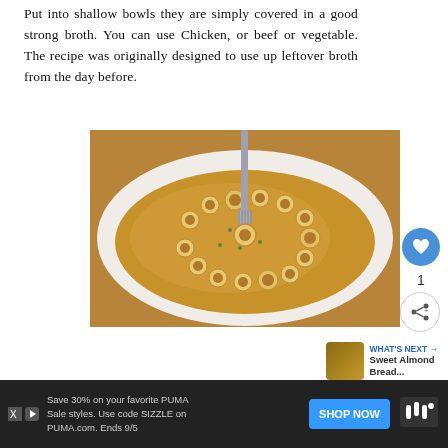Put into shallow bowls they are simply covered in a good strong broth. You can use Chicken, or beef or vegetable. The recipe was originally designed to use up leftover broth from the day before.
[Figure (photo): A shallow white bowl filled with golden broth soup containing rolled meat/pancake slices, garnished with herbs, with a fork standing in the center of the bowl.]
1
WHAT'S NEXT → Sweet Almond Bread...
Save 30% on your favorite PUMA Sale styles. Use code SIZZLE on PUMA.com. Ends 9/5